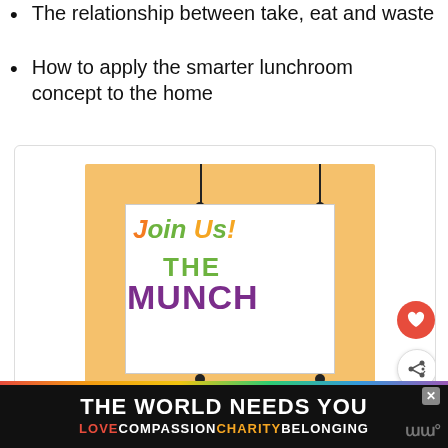The relationship between take, eat and waste
How to apply the smarter lunchroom concept to the home
[Figure (illustration): Screenshot of a web page showing a colorful 'Join Us! The Munch Newsletter' sign graphic with an orange background, white sign card with purple and green text, hanging rope design, and UI buttons (heart and share). A 'What's Next' card shows TNC 038: School... A rainbow-themed advertisement banner at the bottom reads 'THE WORLD NEEDS YOU' with 'LOVE COMPASSION CHARITY BELONGING'.]